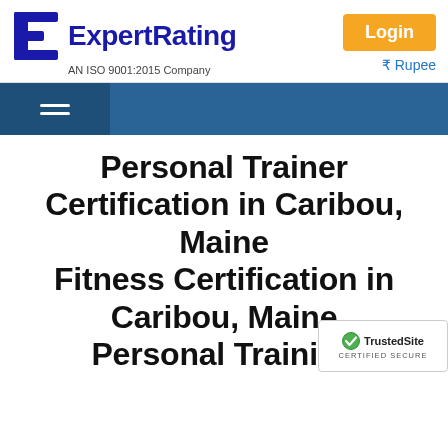[Figure (logo): ExpertRating logo with blue stylized 'E' icon and blue bold text 'ExpertRating', subtext 'AN ISO 9001:2015 Company']
Login
₹ Rupee
Personal Trainer Certification in Caribou, Maine Fitness Certification in Caribou, Maine Personal Training Certification in Caribou,